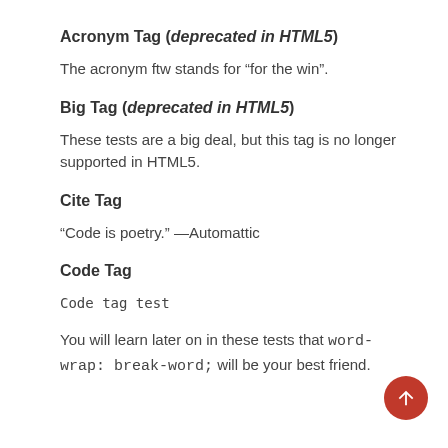Acronym Tag (deprecated in HTML5)
The acronym ftw stands for “for the win”.
Big Tag (deprecated in HTML5)
These tests are a big deal, but this tag is no longer supported in HTML5.
Cite Tag
“Code is poetry.” —Automattic
Code Tag
Code tag test
You will learn later on in these tests that word-wrap: break-word; will be your best friend.